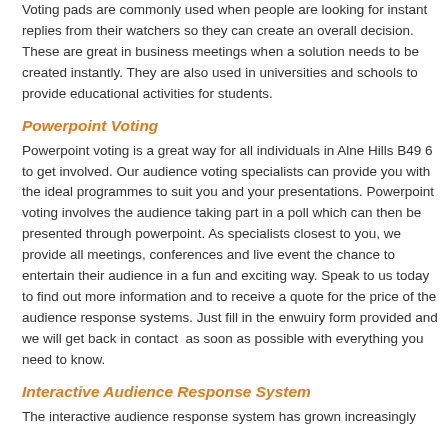Voting pads are commonly used when people are looking for instant replies from their watchers so they can create an overall decision. These are great in business meetings when a solution needs to be created instantly. They are also used in universities and schools to provide educational activities for students.
Powerpoint Voting
Powerpoint voting is a great way for all individuals in Alne Hills B49 6 to get involved. Our audience voting specialists can provide you with the ideal programmes to suit you and your presentations. Powerpoint voting involves the audience taking part in a poll which can then be presented through powerpoint. As specialists closest to you, we provide all meetings, conferences and live event the chance to entertain their audience in a fun and exciting way. Speak to us today to find out more information and to receive a quote for the price of the audience response systems. Just fill in the enwuiry form provided and we will get back in contact  as soon as possible with everything you need to know.
Interactive Audience Response System
The interactive audience response system has grown increasingly